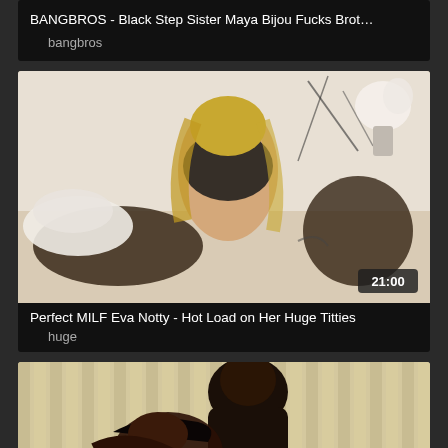BANGBROS - Black Step Sister Maya Bijou Fucks Brot…
bangbros
[Figure (photo): Video thumbnail showing two people on a bed, woman in black lingerie on top]
Perfect MILF Eva Notty - Hot Load on Her Huge Titties
huge
[Figure (photo): Video thumbnail showing two people in an intimate scene against a light background]